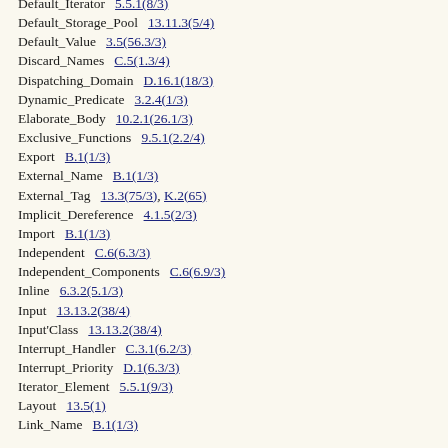Default_Iterator   5.5.1(8/3)
Default_Storage_Pool   13.11.3(5/4)
Default_Value   3.5(56.3/3)
Discard_Names   C.5(1.3/4)
Dispatching_Domain   D.16.1(18/3)
Dynamic_Predicate   3.2.4(1/3)
Elaborate_Body   10.2.1(26.1/3)
Exclusive_Functions   9.5.1(2.2/4)
Export   B.1(1/3)
External_Name   B.1(1/3)
External_Tag   13.3(75/3), K.2(65)
Implicit_Dereference   4.1.5(2/3)
Import   B.1(1/3)
Independent   C.6(6.3/3)
Independent_Components   C.6(6.9/3)
Inline   6.3.2(5.1/3)
Input   13.13.2(38/4)
Input'Class   13.13.2(38/4)
Interrupt_Handler   C.3.1(6.2/3)
Interrupt_Priority   D.1(6.3/3)
Iterator_Element   5.5.1(9/3)
Layout   13.5(1)
Link_Name   B.1(1/3)